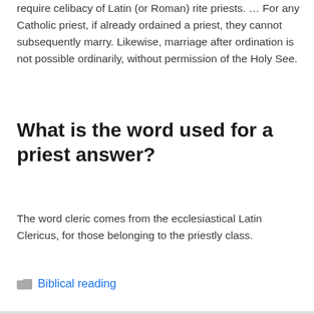require celibacy of Latin (or Roman) rite priests. … For any Catholic priest, if already ordained a priest, they cannot subsequently marry. Likewise, marriage after ordination is not possible ordinarily, without permission of the Holy See.
What is the word used for a priest answer?
The word cleric comes from the ecclesiastical Latin Clericus, for those belonging to the priestly class.
Biblical reading